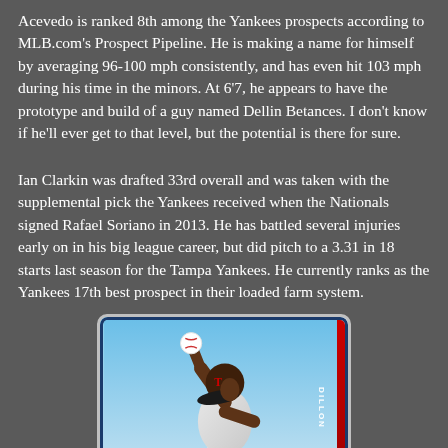Acevedo is ranked 8th among the Yankees prospects according to MLB.com's Prospect Pipeline. He is making a name for himself by averaging 96-100 mph consistently, and has even hit 103 mph during his time in the minors. At 6'7, he appears to have the prototype and build of a guy named Dellin Betances. I don't know if he'll ever get to that level, but the potential is there for sure.
Ian Clarkin was drafted 33rd overall and was taken with the supplemental pick the Yankees received when the Nationals signed Rafael Soriano in 2013. He has battled several injuries early on in his big league career, but did pitch to a 3.31 in 18 starts last season for the Tampa Yankees. He currently ranks as the Yankees 17th best prospect in their loaded farm system.
[Figure (photo): A Bowman Chrome 1st Bowman baseball card showing a baseball player in a Texas Rangers uniform mid-pitching motion with arm raised holding a baseball. The card has the Bowman 'B' Chrome logo in the top left and a '1st Bowman' badge in the top right. The player name 'DILLON' appears vertically on the right side. The word 'TEXAS' is visible on the uniform.]